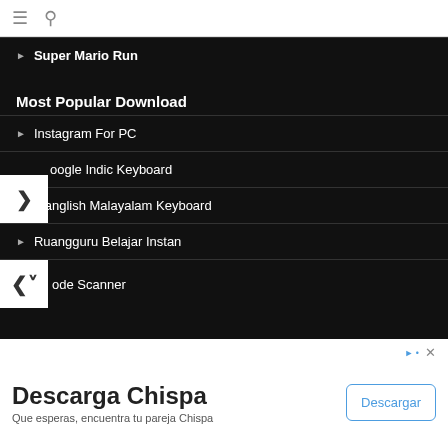☰ 🔍
Super Mario Run
Most Popular Download
Instagram For PC
oogle Indic Keyboard
Manglish Malayalam Keyboard
Ruangguru Belajar Instan
ode Scanner
Descarga Chispa
Que esperas, encuentra tu pareja Chispa
Descargar